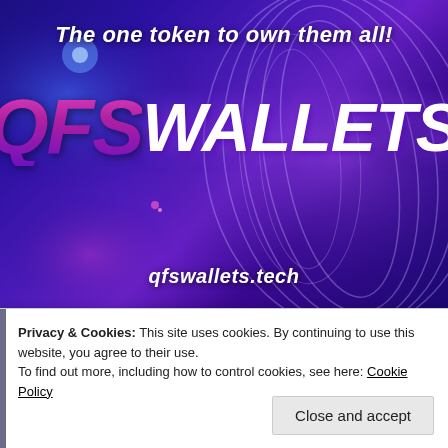[Figure (illustration): QFS Wallets promotional banner with dark purple/blue background featuring glowing circular tech rings and the text 'The one token to own them all!' at the top, large 'QFS WALLETS' logo in the center with QFS in pink/purple gradient and WALLETS in white, and 'qfswallets.tech' website URL at the bottom.]
Privacy & Cookies: This site uses cookies. By continuing to use this website, you agree to their use.
To find out more, including how to control cookies, see here: Cookie Policy
Close and accept